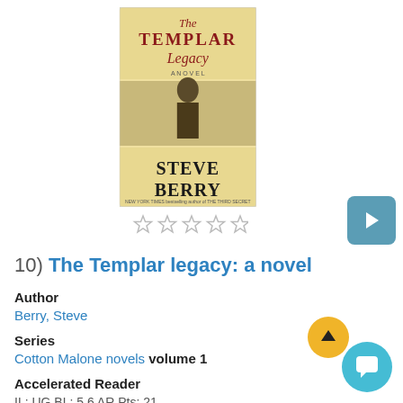[Figure (illustration): Book cover of 'The Templar Legacy: A Novel' by Steve Berry, showing vintage/aged cream-colored design with red and black text and a figure in medieval costume]
[Figure (other): Five empty star rating symbols below the book cover]
[Figure (other): Teal play button in rounded square on right side]
10) The Templar legacy: a novel
Author
Berry, Steve
Series
Cotton Malone novels volume 1
Accelerated Reader
IL: UG   BL: 5.6   AR Pts: 21
[Figure (other): Yellow circular up-arrow button]
[Figure (other): Teal circular chat bubble button]